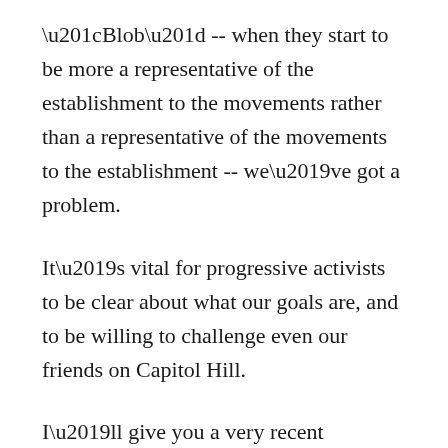“Blob” -- when they start to be more a representative of the establishment to the movements rather than a representative of the movements to the establishment -- we’ve got a problem.
It’s vital for progressive activists to be clear about what our goals are, and to be willing to challenge even our friends on Capitol Hill.
I’ll give you a very recent example. Two leaders of anti-war forces in the House of Representatives, a couple of weeks ago, circulated a “Dear Colleague”...